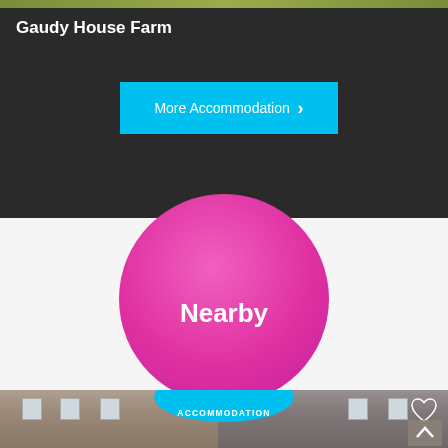Gaudy House Farm
More Accommodation >
[Figure (illustration): Pink circle with text 'Nearby' overlapping a dark section and a light section]
Other things nearby
[Figure (photo): Stone building / farmhouse exterior photo with ACCOMMODATION badge and heart icon]